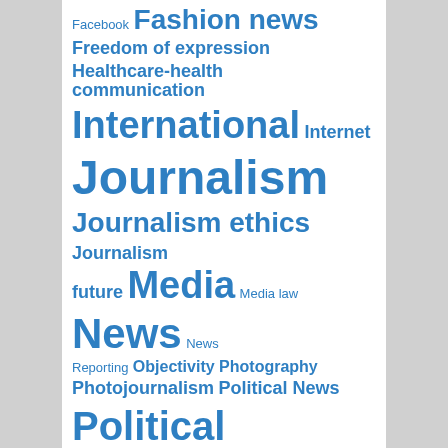[Figure (other): Tag cloud of journalism and media related topics in blue text of varying sizes indicating frequency/importance. Tags include: Facebook, Fashion news, Freedom of expression, Healthcare-health communication, International, Internet, Journalism, Journalism ethics, Journalism future, Media, Media law, News, News Reporting, Objectivity, Photography, Photojournalism, Political News, Political reporting, Politics, Professionalism, Religion reporting, Reporting]